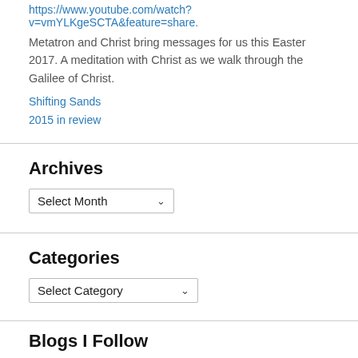https://www.youtube.com/watch?v=vmYLKgeSCTA&feature=share.
Metatron and Christ bring messages for us this Easter 2017. A meditation with Christ as we walk through the Galilee of Christ.
Shifting Sands
2015 in review
Archives
Select Month
Categories
Select Category
Blogs I Follow
[Figure (photo): Two side-by-side blog thumbnail images. Left: a warm sunset/orange sky with silhouetted vegetation. Right: a dark blue sky scene with indistinct background elements.]